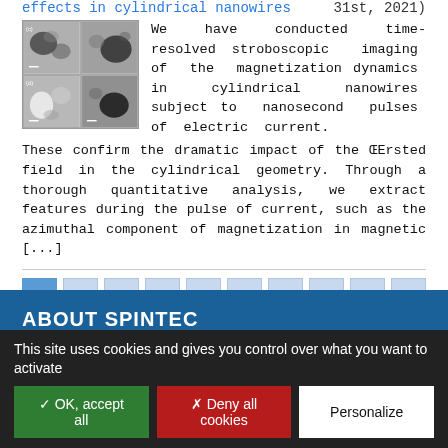effects in cylindrical nanowires
31st, 2021)
[Figure (photo): Four grayscale microscopy images arranged in 2x2 grid showing magnetization dynamics in cylindrical nanowires]
We have conducted time-resolved stroboscopic imaging of the magnetization dynamics in cylindrical nanowires subject to nanosecond pulses of electric current. These confirm the dramatic impact of the ŒErsted field in the cylindrical geometry. Through a thorough quantitative analysis, we extract features during the pulse of current, such as the azimuthal component of magnetization in magnetic [...]
Pagination: 1 2 3 4 5 6 7 ... 42 »
ABOUT SPINTEC
This site uses cookies and gives you control over what you want to activate
✓ OK, accept all   ✗ Deny all cookies   Personalize